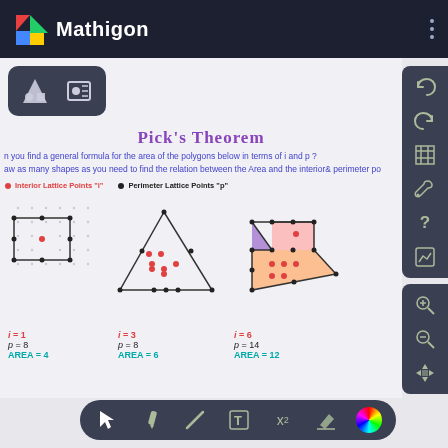Mathigon
Pick's Theorem
n you find a general formula for the area of the polygons below in terms of i and p ?
aw as many shapes as you need to find the relation between the Area and the interior & perimeter po
Interior Lattice Points "i"   •  Perimeter Lattice Points "p"
[Figure (illustration): Three geometric shapes on a dot grid: a rectangle with i=1, p=8; a triangle with i=3, p=8; and a composite polygon with i=6, p=14. Interior points are red dots, perimeter points are black dots.]
i = 1
p = 8
AREA = 4
i = 3
p = 8
AREA = 6
i = 6
p = 14
AREA = 12